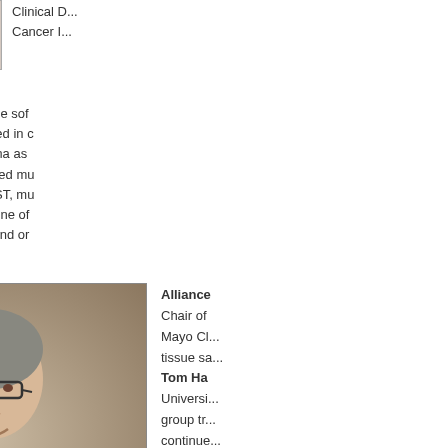[Figure (photo): Partial portrait photo of a person at the top right, cropped at top]
Clinical D... Cancer I... Committee.
Her areas of expertise include sof... (GIST). She is most interested in c... metastatic soft tissue sarcoma as... George has developed and led mu... advanced sarcomas and GIST, mu... diseases. She has also led one of... medical, surgical, radiation and or... outcomes.
[Figure (photo): Portrait photo of a man with grey hair wearing glasses and a dark suit with tie, seated against a neutral background]
Alliance... Chair of... Mayo Cl... tissue sa... Tom Ha... Universi... group tr... continue...
Committee, participating in and lea...